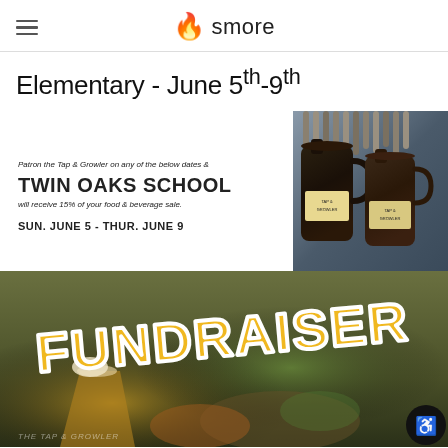smore
Elementary - June 5th-9th
[Figure (infographic): Tap & Growler fundraiser flyer for Twin Oaks School. Upper portion shows text on white background with photo of growler jugs. Text reads: Patron the Tap & Growler on any of the below dates & TWIN OAKS SCHOOL will receive 15% of your food & beverage sale. SUN. JUNE 5 - THUR. JUNE 9. Lower portion shows large 'FUNDRAISER' text overlaid on a photo of beer and food from The Tap & Growler restaurant.]